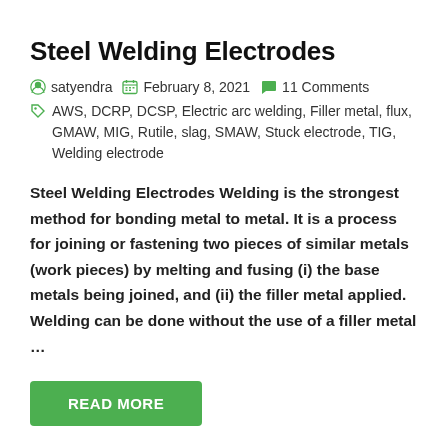Steel Welding Electrodes
satyendra  February 8, 2021  11 Comments
AWS, DCRP, DCSP, Electric arc welding, Filler metal, flux, GMAW, MIG, Rutile, slag, SMAW, Stuck electrode, TIG, Welding electrode
Steel Welding Electrodes Welding is the strongest method for bonding metal to metal. It is a process for joining or fastening two pieces of similar metals (work pieces) by melting and fusing (i) the base metals being joined, and (ii) the filler metal applied. Welding can be done without the use of a filler metal …
READ MORE